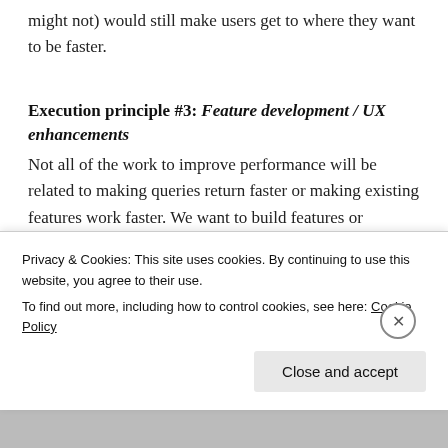might not) would still make users get to where they want to be faster.
Execution principle #3: Feature development / UX enhancements
Not all of the work to improve performance will be related to making queries return faster or making existing features work faster. We want to build features or enhancements that will enable users to reach their end goal faster. Some quick examples here include : making a common 2-step
Privacy & Cookies: This site uses cookies. By continuing to use this website, you agree to their use.
To find out more, including how to control cookies, see here: Cookie Policy
Close and accept